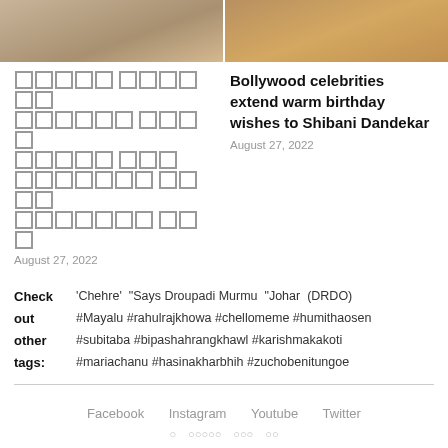[Figure (photo): Two side-by-side photos at top of page; left shows a person in light clothing, right shows a person in patterned clothing]
[blocked text in non-Latin script]
August 27, 2022
Bollywood celebrities extend warm birthday wishes to Shibani Dandekar
August 27, 2022
Check out other tags: 'Chehre'  "Says Droupadi Murmu  "Johar  (DRDO)  #Mayalu #rahulrajkhowa #chellomeme #humithaosen  #subitaba #bipashahrangkhawl #karishmakakoti  #mariachanu #hasinakharbhih #zuchobenitungoe
Facebook   Instagram   Youtube   Twitter